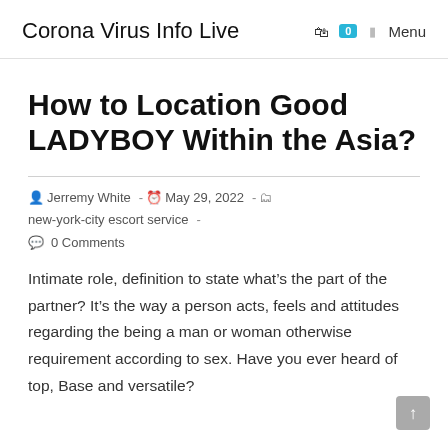Corona Virus Info Live   0   Menu
How to Location Good LADYBOY Within the Asia?
Jerremy White  -  May 29, 2022  -  new-york-city escort service  -  0 Comments
Intimate role, definition to state what’s the part of the partner? It’s the way a person acts, feels and attitudes regarding the being a man or woman otherwise requirement according to sex. Have you ever heard of top, Base and versatile?